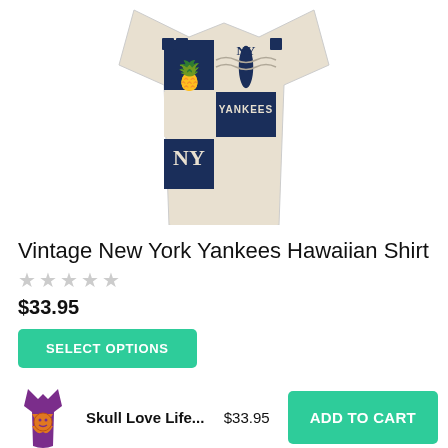[Figure (photo): A Yankees Hawaiian shirt displayed, featuring navy blue and cream patchwork pattern with pineapples, Yankees text, NY logos, and tropical motifs]
Vintage New York Yankees Hawaiian Shirt
★★★★★ (empty stars rating)
$33.95
SELECT OPTIONS
[Figure (photo): Small thumbnail of a colorful purple and orange Hawaiian shirt with skull and face design - Skull Love Life shirt]
Skull Love Life...
$33.95
ADD TO CART